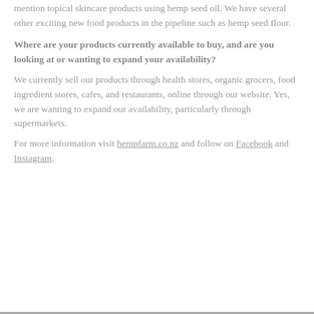mention topical skincare products using hemp seed oil. We have several other exciting new food products in the pipeline such as hemp seed flour.
Where are your products currently available to buy, and are you looking at or wanting to expand your availability?
We currently sell our products through health stores, organic grocers, food ingredient stores, cafes, and restaurants, online through our website. Yes, we are wanting to expand our availability, particularly through supermarkets.
For more information visit hempfarm.co.nz and follow on Facebook and Instagram.